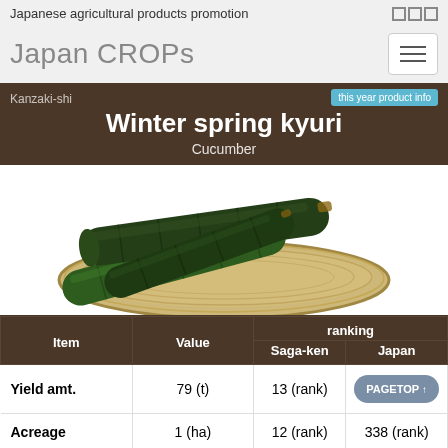Japanese agricultural products promotion
Japan CROPs
Winter spring kyuri
Cucumber
Kanzaki-shi
[Figure (photo): Three dark green Japanese cucumbers (kyuri) resting on a round bamboo basket/tray on a white background]
| Item | Value | ranking Saga-ken | ranking Japan |
| --- | --- | --- | --- |
| Yield amt. | 79 (t) | 13 (rank) |  |
| Acreage | 1 (ha) | 12 (rank) | 338 (rank) |